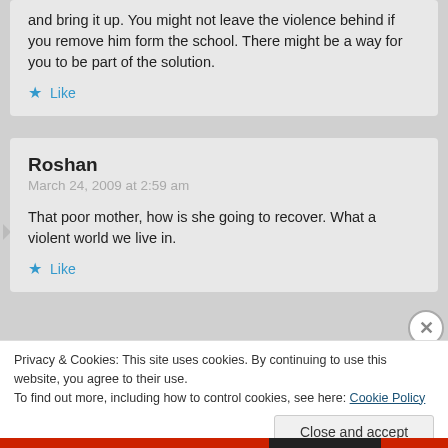and bring it up. You might not leave the violence behind if you remove him form the school. There might be a way for you to be part of the solution.
Like
Roshan
March 24, 2009 at 2:59 am
That poor mother, how is she going to recover. What a violent world we live in.
Like
Privacy & Cookies: This site uses cookies. By continuing to use this website, you agree to their use.
To find out more, including how to control cookies, see here: Cookie Policy
Close and accept